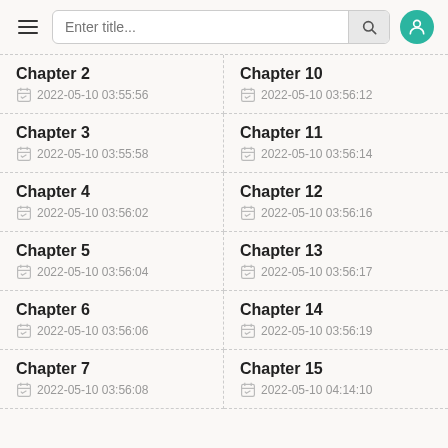Enter title... [search bar with hamburger menu and user avatar]
Chapter 2
2022-05-10 03:55:56
Chapter 10
2022-05-10 03:56:12
Chapter 3
2022-05-10 03:55:58
Chapter 11
2022-05-10 03:56:14
Chapter 4
2022-05-10 03:56:02
Chapter 12
2022-05-10 03:56:16
Chapter 5
2022-05-10 03:56:04
Chapter 13
2022-05-10 03:56:17
Chapter 6
2022-05-10 03:56:06
Chapter 14
2022-05-10 03:56:19
Chapter 7
2022-05-10 03:56:08
Chapter 15
2022-05-10 04:14:10